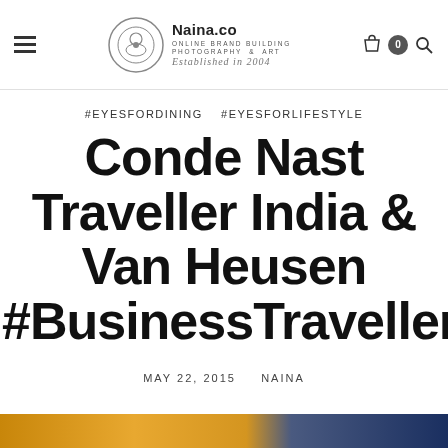Naina.co — Online Brand Building Photography & Art — Established in 2004
#EYESFORDINING  #EYESFORLIFESTYLE
Conde Nast Traveller India & Van Heusen #BusinessTraveller
MAY 22, 2015   NAINA
[Figure (photo): Colorful bottom image strip preview — gold/orange and dark blue tones]